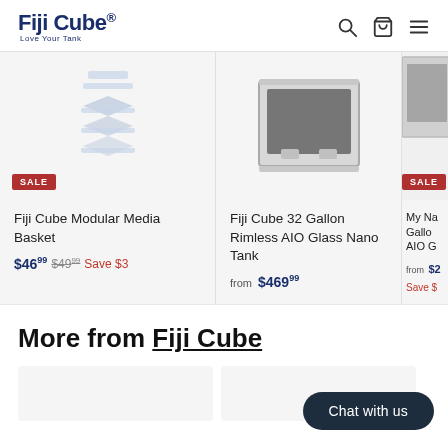Fiji Cube® Love Your Tank — navigation header with search, cart, and menu icons
[Figure (photo): Product image of Fiji Cube Modular Media Basket on light grey background, with red SALE badge]
Fiji Cube Modular Media Basket
$46.99  $49.99  Save $3
[Figure (photo): Product image of Fiji Cube 32 Gallon Rimless AIO Glass Nano Tank on light grey background]
Fiji Cube 32 Gallon Rimless AIO Glass Nano Tank
from $469.99
[Figure (photo): Partially visible product image with red SALE badge, partially cropped on right]
My Na... Gallo... AIO G...
from $... Save $...
More from Fiji Cube
[Figure (photo): Two partially visible product cards at bottom of page]
Chat with us